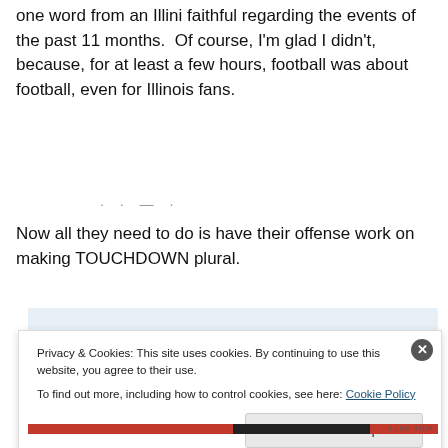one word from an Illini faithful regarding the events of the past 11 months.  Of course, I'm glad I didn't, because, for at least a few hours, football was about football, even for Illinois fans.
Now all they need to do is have their offense work on making TOUCHDOWN plural.
[Figure (screenshot): Cookie consent banner overlay on a blog embed with close button and 'Close and accept' button. Text reads: 'Privacy & Cookies: This site uses cookies. By continuing to use this website, you agree to their use. To find out more, including how to control cookies, see here: Cookie Policy']
[Figure (other): Bottom strip with Illinois team colors - red, dark, and red segments with ILLINI TICK label]